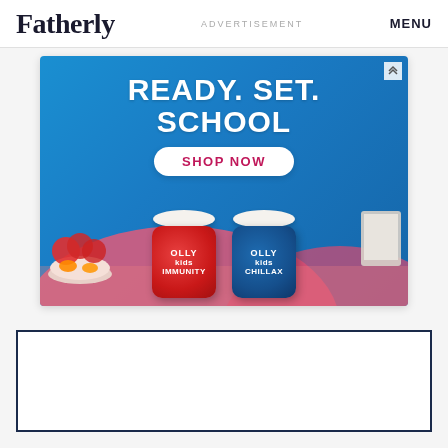Fatherly | ADVERTISEMENT | MENU
[Figure (infographic): OLLY vitamins advertisement banner with blue background reading 'READY. SET. SCHOOL' with a 'SHOP NOW' button and two OLLY product jars (Immunity and Chillax), fruit bowl on left, laptop on right]
[Figure (other): Empty white box with dark navy border, placeholder content area]